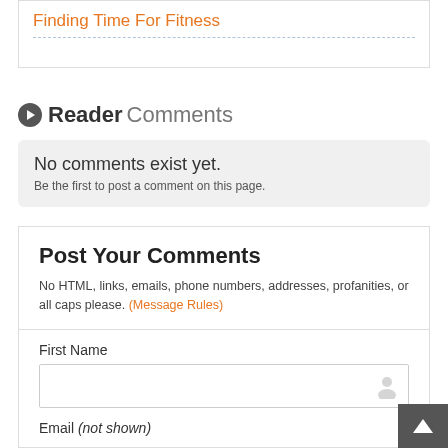Finding Time For Fitness
Reader Comments
No comments exist yet. Be the first to post a comment on this page.
Post Your Comments
No HTML, links, emails, phone numbers, addresses, profanities, or all caps please. (Message Rules)
First Name
Email (not shown)